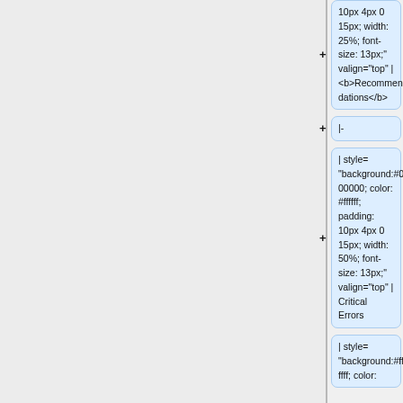10px 4px 0 15px; width: 25%; font-size: 13px;" valign="top" | <b>Recommendations</b>
|-
| style= "background:#000000; color: #ffffff; padding: 10px 4px 0 15px; width: 50%; font-size: 13px;" valign="top" | Critical Errors
| style= "background:#ffffff; color: